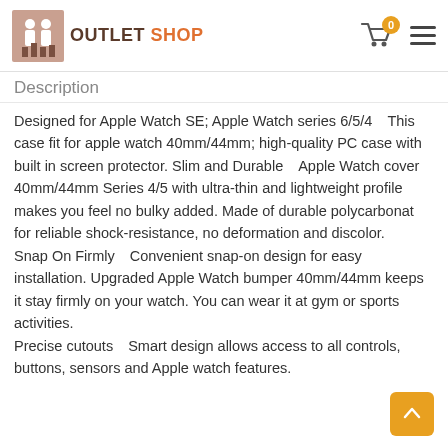OUTLET SHOP
Description
Designed for Apple Watch SE; Apple Watch series 6/5/4　This case fit for apple watch 40mm/44mm; high-quality PC case with built in screen protector. Slim and Durable　Apple Watch cover 40mm/44mm Series 4/5 with ultra-thin and lightweight profile makes you feel no bulky added. Made of durable polycarbonat for reliable shock-resistance, no deformation and discolor. Snap On Firmly　Convenient snap-on design for easy installation. Upgraded Apple Watch bumper 40mm/44mm keeps it stay firmly on your watch. You can wear it at gym or sports activities. Precise cutouts　Smart design allows access to all controls, buttons, sensors and Apple watch features.